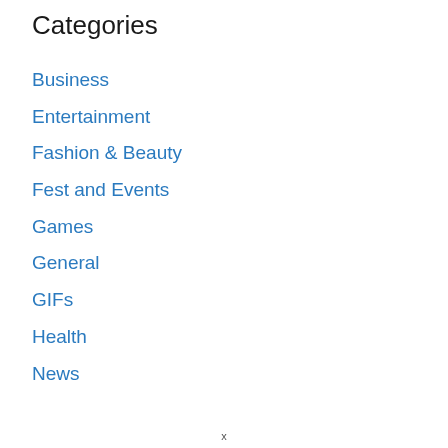Categories
Business
Entertainment
Fashion & Beauty
Fest and Events
Games
General
GIFs
Health
News
x